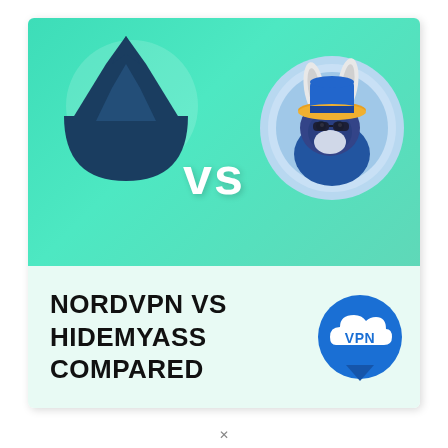[Figure (illustration): Comparison graphic: NordVPN logo (dark blue mountain peaks in a circle) on the left, 'vs' text in white center, HideMyAss donkey mascot with yellow/blue hat in a circle on the right, all on a mint/teal green gradient background. Bottom section on light green shows bold text 'NORDVPN VS HIDEMYASS COMPARED' and a blue VPN cloud logo icon on the right.]